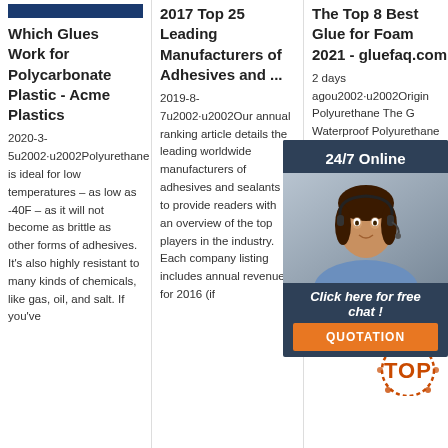[Figure (other): Blue navigation bar at top of column 1]
Which Glues Work for Polycarbonate Plastic - Acme Plastics
2020-3-5u2002·u2002Polyurethane is ideal for low temperatures – as low as -40F – as it will not become as brittle as other forms of adhesives. It's also highly resistant to many kinds of chemicals, like gas, oil, and salt. If you've
2017 Top 25 Leading Manufacturers of Adhesives and ...
2019-8-7u2002·u2002Our annual ranking article details the leading worldwide manufacturers of adhesives and sealants to provide readers with an overview of the top players in the industry. Each company listing includes annual revenue for 2016 (if
The Top 8 Best Glue for Foam 2021 - gluefaq.com
2 days agou2002·u2002Origin Polyurethane The G Waterproof Polyurethane can be for interested in a highly durable foam adhesive that can withstand movement, wear, and tear. It is flexible when dried
[Figure (other): Chat support overlay popup with woman wearing headset, 24/7 Online text, Click here for free chat, QUOTATION button]
[Figure (other): TOP badge icon in orange/red dotted circular pattern]